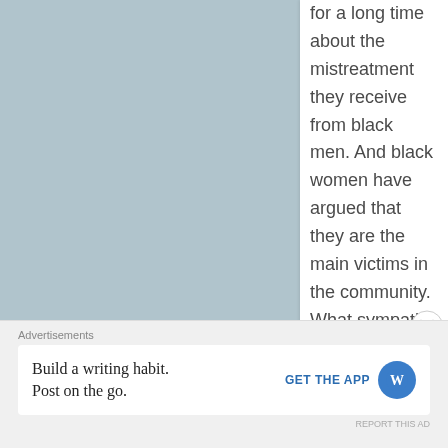for a long time about the mistreatment they receive from black men. And black women have argued that they are the main victims in the community. What sympathy do decent black men get? What recognition do good black fathers get? None
Advertisements
Build a writing habit. Post on the go.
GET THE APP